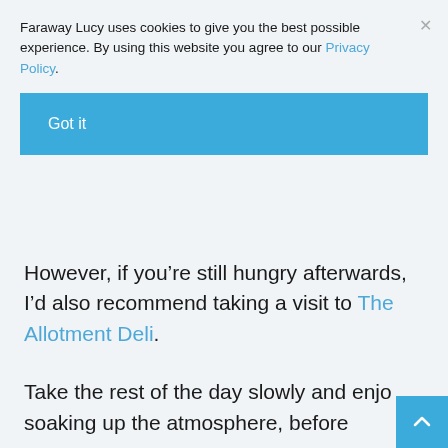Faraway Lucy uses cookies to give you the best possible experience. By using this website you agree to our Privacy Policy.
Got it
However, if you're still hungry afterwards, I'd also recommend taking a visit to The Allotment Deli.
Take the rest of the day slowly and enjo soaking up the atmosphere, before